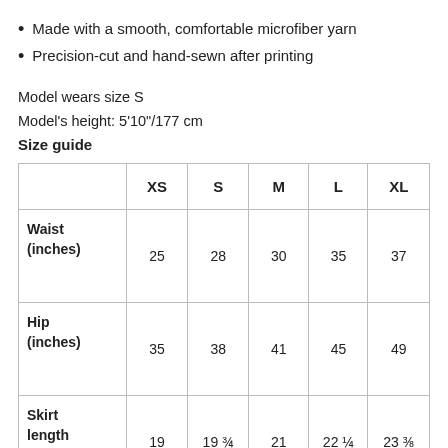Made with a smooth, comfortable microfiber yarn
Precision-cut and hand-sewn after printing
Model wears size S
Model's height: 5'10"/177 cm
Size guide
|  | XS | S | M | L | XL |
| --- | --- | --- | --- | --- | --- |
| Waist (inches) | 25 | 28 | 30 | 35 | 37 |
| Hip (inches) | 35 | 38 | 41 | 45 | 49 |
| Skirt length (inches) | 19 | 19 ¾ | 21 | 22 ¼ | 23 ⅜ |